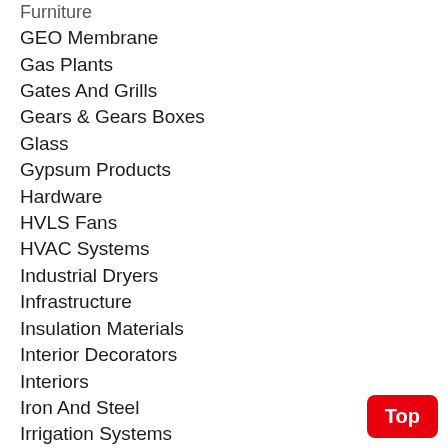Furniture
GEO Membrane
Gas Plants
Gates And Grills
Gears & Gears Boxes
Glass
Gypsum Products
Hardware
HVLS Fans
HVAC Systems
Industrial Dryers
Infrastructure
Insulation Materials
Interior Decorators
Interiors
Iron And Steel
Irrigation Systems
Kitchen Accessories
Landscape